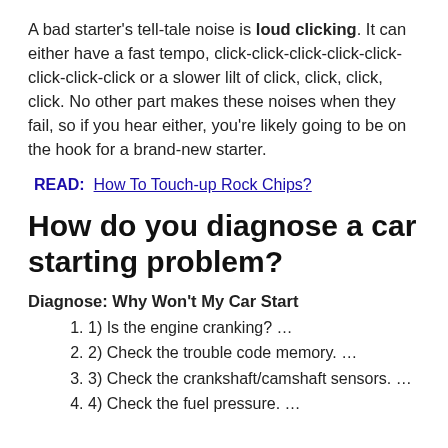A bad starter's tell-tale noise is loud clicking. It can either have a fast tempo, click-click-click-click-click-click-click-click or a slower lilt of click, click, click, click. No other part makes these noises when they fail, so if you hear either, you're likely going to be on the hook for a brand-new starter.
READ:  How To Touch-up Rock Chips?
How do you diagnose a car starting problem?
Diagnose: Why Won't My Car Start
1) Is the engine cranking? …
2) Check the trouble code memory. …
3) Check the crankshaft/camshaft sensors. …
4) Check the fuel pressure. …